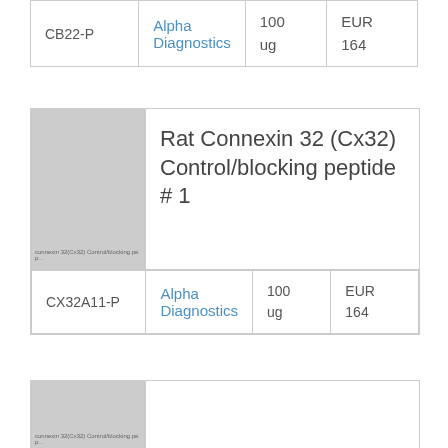| Cat # | Supplier | Qty | Price |
| --- | --- | --- | --- |
| CB22-P | Alpha Diagnostics | 100 ug | EUR 164 |
[Figure (photo): Placeholder image for Rat Connexin 32 (Cx32) Control/blocking peptide #1 product]
Rat Connexin 32 (Cx32) Control/blocking peptide # 1
| Cat # | Supplier | Qty | Price |
| --- | --- | --- | --- |
| CX32A11-P | Alpha Diagnostics | 100 ug | EUR 164 |
[Figure (photo): Placeholder image for another product (partial, bottom of page)]